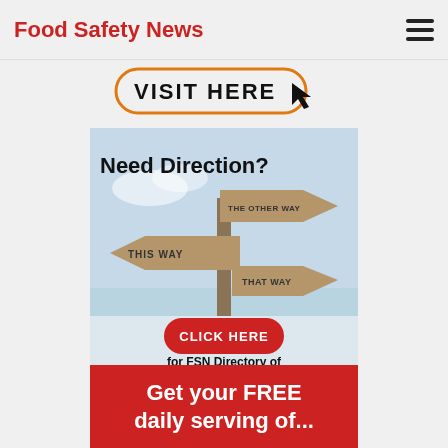Food Safety News
[Figure (screenshot): VISIT HERE button with orange rounded border and cursor arrow icon]
[Figure (infographic): Need Direction? signpost image with THIS WAY, THAT WAY, THE OTHER WAY signs, CLICK HERE red button, for FSN Directory of Products & Services text]
[Figure (infographic): Red banner: Get your FREE daily serving of...]